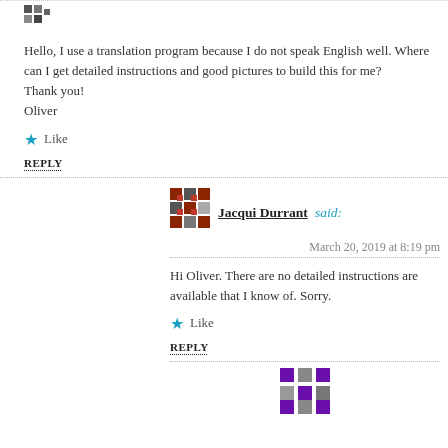[Figure (illustration): Small decorative avatar/icon at top left]
Hello, I use a translation program because I do not speak English well. Where can I get detailed instructions and good pictures to build this for me?
Thank you!
Oliver
Like
REPLY
[Figure (illustration): Jacqui Durrant avatar - red/brown mosaic pattern]
Jacqui Durrant said:
March 20, 2019 at 8:19 pm
Hi Oliver. There are no detailed instructions are available that I know of. Sorry.
Like
REPLY
[Figure (illustration): Purple/violet mosaic avatar at bottom center]